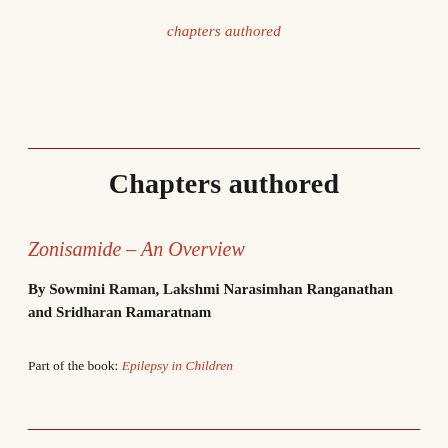chapters authored
Chapters authored
Zonisamide – An Overview
By Sowmini Raman, Lakshmi Narasimhan Ranganathan and Sridharan Ramaratnam
Part of the book: Epilepsy in Children